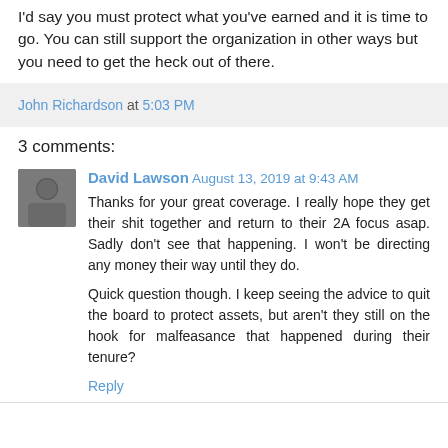I'd say you must protect what you've earned and it is time to go. You can still support the organization in other ways but you need to get the heck out of there.
John Richardson at 5:03 PM
3 comments:
David Lawson August 13, 2019 at 9:43 AM
Thanks for your great coverage. I really hope they get their shit together and return to their 2A focus asap. Sadly don't see that happening. I won't be directing any money their way until they do.
Quick question though. I keep seeing the advice to quit the board to protect assets, but aren't they still on the hook for malfeasance that happened during their tenure?
Reply